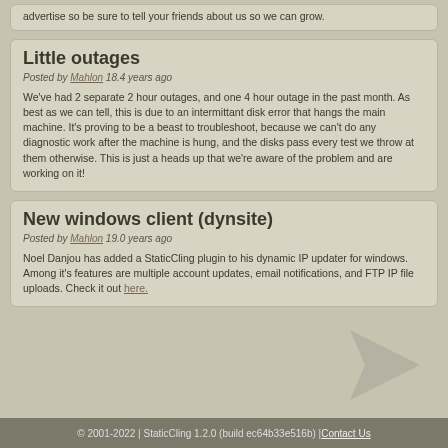advertise so be sure to tell your friends about us so we can grow.
Little outages
Posted by Mahlon 18.4 years ago
We've had 2 separate 2 hour outages, and one 4 hour outage in the past month. As best as we can tell, this is due to an intermittant disk error that hangs the main machine. It's proving to be a beast to troubleshoot, because we can't do any diagnostic work after the machine is hung, and the disks pass every test we throw at them otherwise. This is just a heads up that we're aware of the problem and are working on it!
New windows client (dynsite)
Posted by Mahlon 19.0 years ago
Noel Danjou has added a StaticCling plugin to his dynamic IP updater for windows. Among it's features are multiple account updates, email notifications, and FTP IP file uploads. Check it out here.
© 2001-2022 | StaticCling 1.2.0 (build ec64b33e516b) | Contact Us